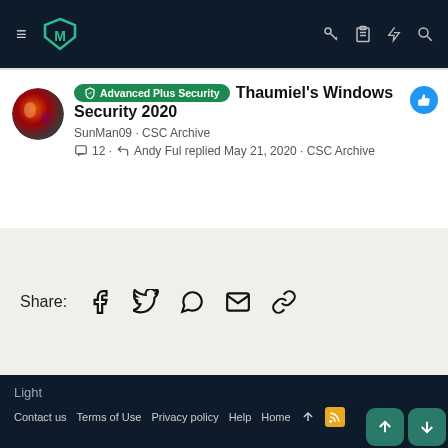≡ [Logo] [key] [clipboard] [lightning] [search]
Advanced Plus Security · Thaumiel's Windows Security 2020
SunMan09 · CSC Archive
☐ 12 · ↩ Andy Ful replied May 21, 2020 · CSC Archive
Share: [Facebook] [Twitter] [WhatsApp] [Email] [Link]
Light
Contact us  Terms of Use  Privacy policy  Help  Home  ↑  [RSS]